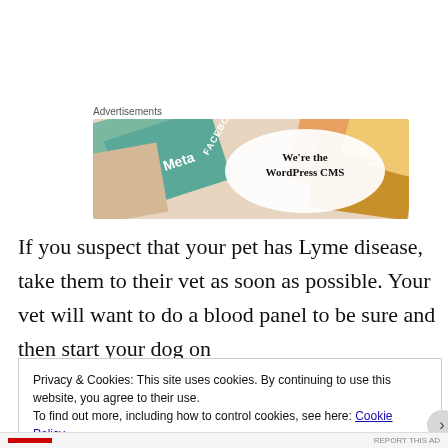Advertisements
[Figure (illustration): Advertisement banner showing colorful overlapping cards/tiles for Meta, Facebook, and other tech brands with text overlay reading 'We're the WordPress CMS for You']
If you suspect that your pet has Lyme disease, take them to their vet as soon as possible. Your vet will want to do a blood panel to be sure and then start your dog on
Privacy & Cookies: This site uses cookies. By continuing to use this website, you agree to their use.
To find out more, including how to control cookies, see here: Cookie Policy
Close and accept
REPORT THIS AD